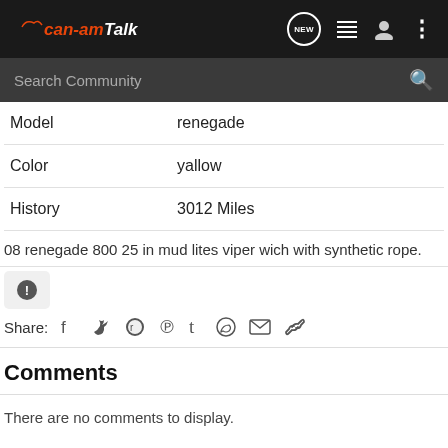can-amTalk navigation bar with NEW, list, user, and menu icons
Search Community
| Field | Value |
| --- | --- |
| Model | renegade |
| Color | yallow |
| History | 3012 Miles |
08 renegade 800 25 in mud lites viper wich with synthetic rope.
Share: [social icons]
Comments
There are no comments to display.